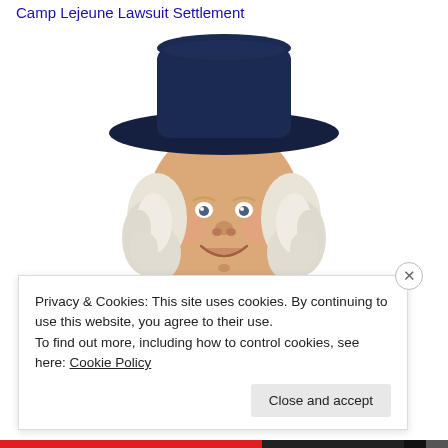Camp Lejeune Lawsuit Settlement
[Figure (illustration): Quaker Oats man mascot — a smiling man with white curly hair wearing a dark navy colonial-style hat and coat with a white cravat]
Privacy & Cookies: This site uses cookies. By continuing to use this website, you agree to their use.
To find out more, including how to control cookies, see here: Cookie Policy
Close and accept